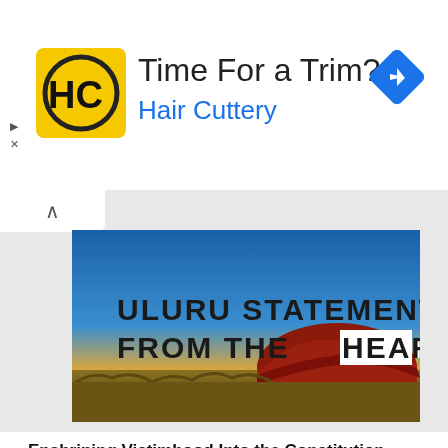[Figure (infographic): Hair Cuttery advertisement banner with logo (HC in circle, yellow background), headline 'Time For a Trim?', brand name 'Hair Cuttery' in blue, and a blue navigation diamond icon on the right. Small play and X icons on the far left.]
[Figure (photo): Photo of Uluru (Ayers Rock) at sunset with text overlaid reading 'ULURU STATEMENT FROM THE HEART' in bold dark letters, some letters in white block style. Red rock formation against a blue-orange sky, with golden grassland in foreground.]
Enshrining Victimhood Into the Constitution
MARK POWELL
TRENDING
Globalism Is Satanic